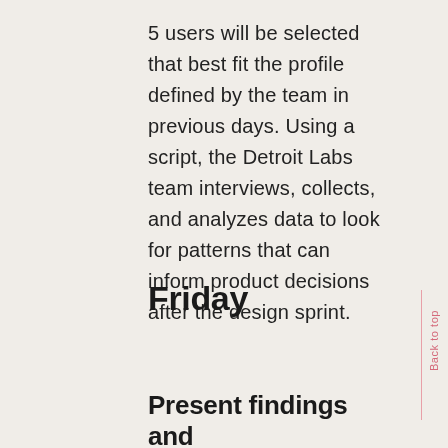5 users will be selected that best fit the profile defined by the team in previous days. Using a script, the Detroit Labs team interviews, collects, and analyzes data to look for patterns that can inform product decisions after the design sprint.
Friday
Present findings and